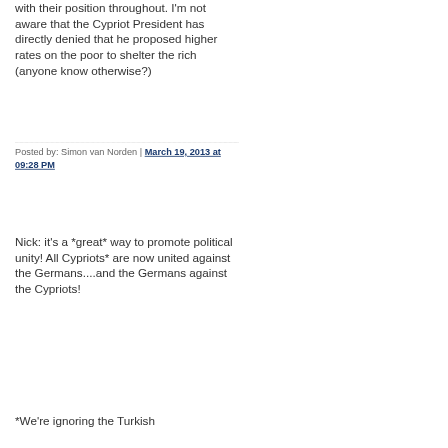with their position throughout. I'm not aware that the Cypriot President has directly denied that he proposed higher rates on the poor to shelter the rich (anyone know otherwise?)
Posted by: Simon van Norden | March 19, 2013 at 09:28 PM
Nick: it's a *great* way to promote political unity! All Cypriots* are now united against the Germans....and the Germans against the Cypriots!
*We're ignoring the Turkish